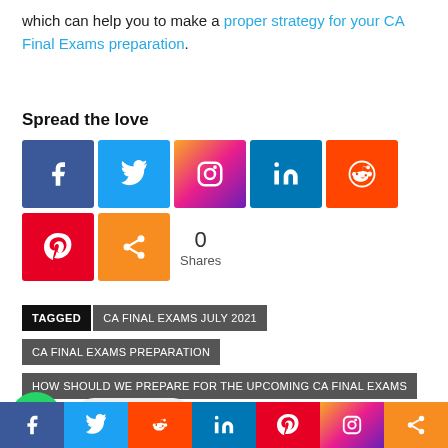which can help you to make a proper strategy for your CA Final Exams preparation.
Spread the love
[Figure (infographic): Social media share buttons: Facebook, Twitter, Instagram, LinkedIn, Reddit, Pinterest, More. Share count: 0 Shares.]
TAGGED  CA FINAL EXAMS JULY 2021  CA FINAL EXAMS PREPARATION  HOW SHOULD WE PREPARE FOR THE UPCOMING CA FINAL EXAMS  STRATEGY TO PASS CA FINAL EXAMS
[Figure (infographic): WhatsApp Chat Now button and bottom social share bar with Facebook, Twitter, Reddit, LinkedIn, Pinterest, Instagram, More buttons.]